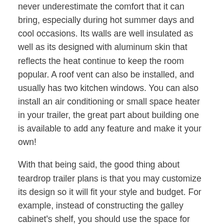never underestimate the comfort that it can bring, especially during hot summer days and cool occasions. Its walls are well insulated as well as its designed with aluminum skin that reflects the heat continue to keep the room popular. A roof vent can also be installed, and usually has two kitchen windows. You can also install an air conditioning or small space heater in your trailer, the great part about building one is available to add any feature and make it your own!
With that being said, the good thing about teardrop trailer plans is that you may customize its design so it will fit your style and budget. For example, instead of constructing the galley cabinet's shelf, you should use the space for your camping stove or ice chest. Using battery powered lights inside the trailer also promises a lot of savings. Furthermore, as an alternative to using a separate battery, why not use your car's battery as a possibility power